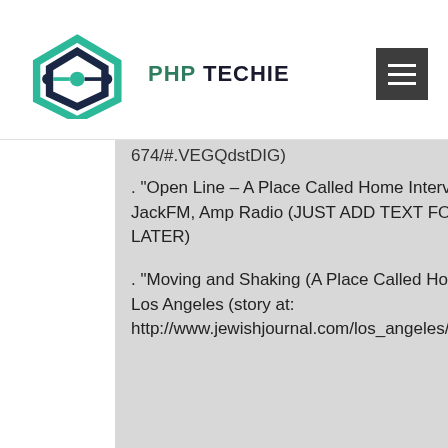PHP TECHIE
674/#.VEGQdstDIG)
. "Open Line – A Place Called Home Interview" – KROQ, The Wave, KEarth, JackFM, Amp Radio (JUST ADD TEXT FOR NOW – I WILL ADD HYPERLINK LATER)
. "Moving and Shaking (A Place Called Home)" – The Jewish Journal of Greater Los Angeles (story at: http://www.jewishjournal.com/los_angeles/article/moving_and_shaking_mayor_elect_eric_garcetti_